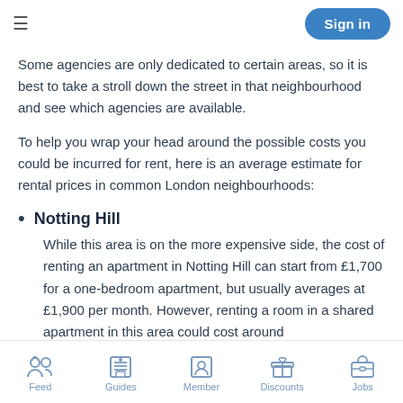≡   Sign in
Some agencies are only dedicated to certain areas, so it is best to take a stroll down the street in that neighbourhood and see which agencies are available.
To help you wrap your head around the possible costs you could be incurred for rent, here is an average estimate for rental prices in common London neighbourhoods:
Notting Hill
While this area is on the more expensive side, the cost of renting an apartment in Notting Hill can start from £1,700 for a one-bedroom apartment, but usually averages at £1,900 per month. However, renting a room in a shared apartment in this area could cost around
Feed   Guides   Member   Discounts   Jobs